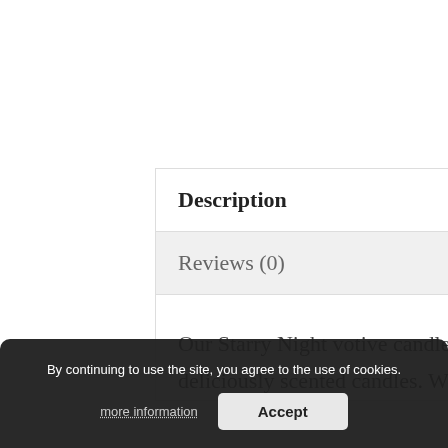Description
Reviews (0)
Our Starry Night votive candle is just one of our wide range of handmade, deliciously scented candles. We have lots in [variety] as Watermelon, or spicy
By continuing to use the site, you agree to the use of cookies.
more information
Accept